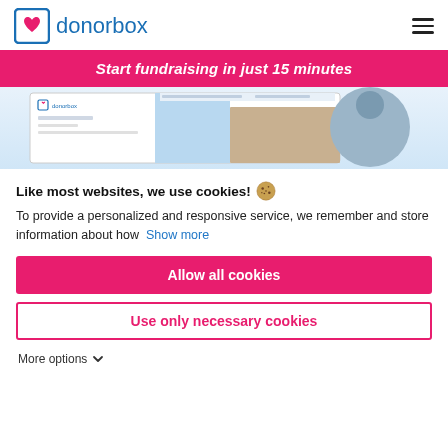donorbox
Start fundraising in just 15 minutes
[Figure (screenshot): Screenshot of Donorbox fundraising platform interface showing a campaign page with donor photos]
Like most websites, we use cookies! 🍪
To provide a personalized and responsive service, we remember and store information about how  Show more
Allow all cookies
Use only necessary cookies
More options ▾